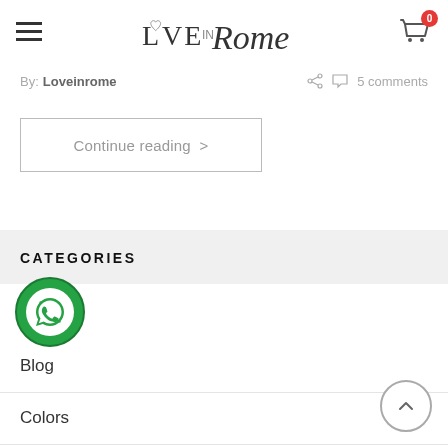Love in Rome — navigation header with hamburger menu and cart icon (0 items)
By: Loveinrome   5 comments
Continue reading >
CATEGORIES
[Figure (logo): WhatsApp circular button — green circle with white WhatsApp phone icon]
Blog
Colors